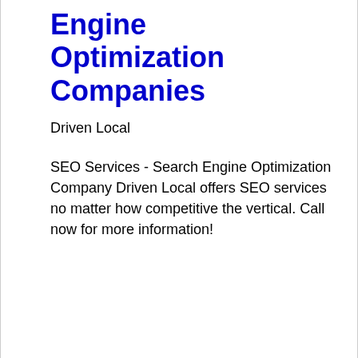Engine Optimization Companies
Driven Local
SEO Services - Search Engine Optimization Company Driven Local offers SEO services no matter how competitive the vertical. Call now for more information!